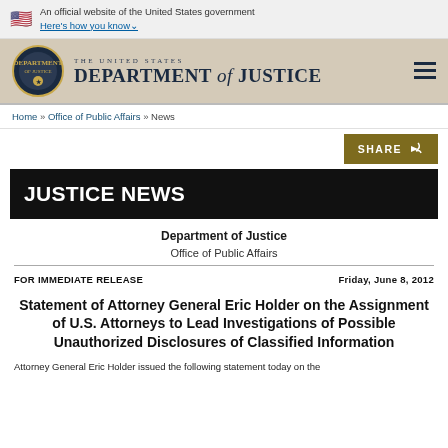An official website of the United States government
Here's how you know
[Figure (logo): Department of Justice seal and wordmark logo with hamburger menu icon]
Home » Office of Public Affairs » News
SHARE
JUSTICE NEWS
Department of Justice
Office of Public Affairs
FOR IMMEDIATE RELEASE
Friday, June 8, 2012
Statement of Attorney General Eric Holder on the Assignment of U.S. Attorneys to Lead Investigations of Possible Unauthorized Disclosures of Classified Information
Attorney General Eric Holder issued the following statement today on the